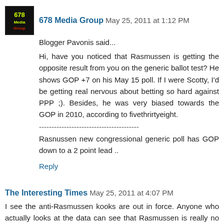678 Media Group  May 25, 2011 at 1:12 PM
Blogger Pavonis said...
Hi, have you noticed that Rasmussen is getting the opposite result from you on the generic ballot test? He shows GOP +7 on his May 15 poll. If I were Scotty, I'd be getting real nervous about betting so hard against PPP ;). Besides, he was very biased towards the GOP in 2010, according to fivethrirtyeight.
----------------------------------------
Rasnussen new congressional generic poll has GOP down to a 2 point lead ..
Reply
The Interesting Times  May 25, 2011 at 4:07 PM
I see the anti-Rasmussen kooks are out in force. Anyone who actually looks at the data can see that Rasmussen is really no better or worse than the average pollster.
And anyone who sees Rasmussen showing higher